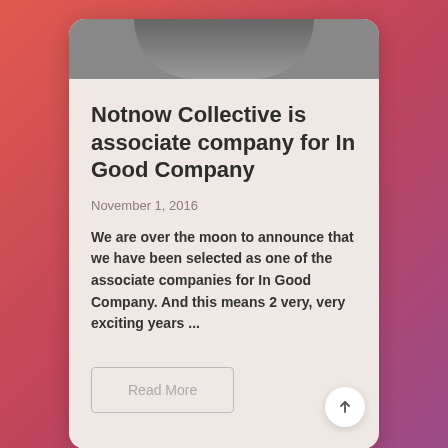[Figure (photo): Cropped photo of people at top of card, visible at the top edge]
Notnow Collective is associate company for In Good Company
November 1, 2016
We are over the moon to announce that we have been selected as one of the associate companies for In Good Company. And this means 2 very, very exciting years ...
Read More